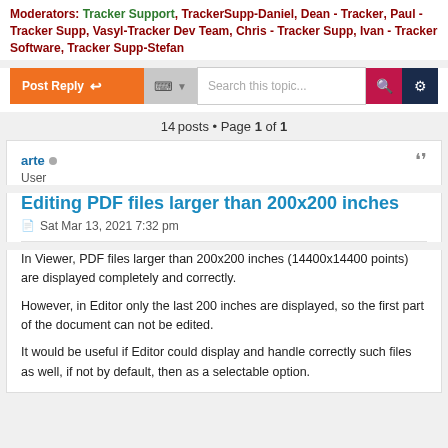Moderators: Tracker Support, TrackerSupp-Daniel, Dean - Tracker, Paul - Tracker Supp, Vasyl-Tracker Dev Team, Chris - Tracker Supp, Ivan - Tracker Software, Tracker Supp-Stefan
[Figure (screenshot): Forum toolbar with Post Reply button, tool icons, search box, search and settings buttons]
14 posts • Page 1 of 1
arte • User
Editing PDF files larger than 200x200 inches
Sat Mar 13, 2021 7:32 pm
In Viewer, PDF files larger than 200x200 inches (14400x14400 points) are displayed completely and correctly.
However, in Editor only the last 200 inches are displayed, so the first part of the document can not be edited.
It would be useful if Editor could display and handle correctly such files as well, if not by default, then as a selectable option.